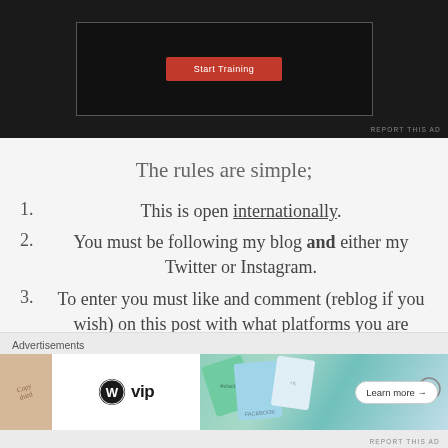[Figure (screenshot): Dark advertisement banner with a red button in the center, showing a promotional image on a black background. 'REPORT THIS AD' label in small text at bottom right.]
The rules are simple;
1. This is open internationally.
2. You must be following my blog and either my Twitter or Instagram.
3. To enter you must like and comment (reblog if you wish) on this post with what platforms you are following me on alongside your usernames. I'd also love to know how you would wear the
[Figure (screenshot): Advertisement bar at bottom with WordPress VIP logo, colorful card visuals, and 'Learn more' button. 'Advertisements' label at top and 'REPORT THIS AD' at bottom right.]